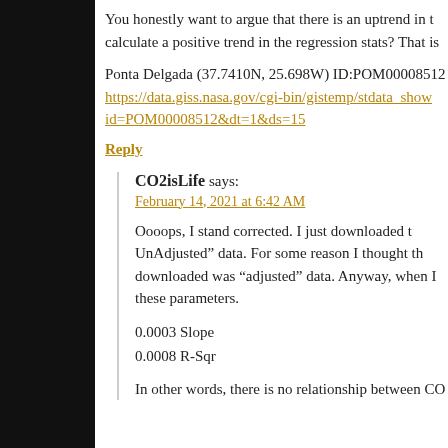You honestly want to argue that there is an uptrend in the calculate a positive trend in the regression stats? That is
Ponta Delgada (37.7410N, 25.698W) ID:POM00008512
https://data.giss.nasa.gov/cgi-bin/gistemp/stdata_show id=POM00008512&dt=1&ds=15
Reply
CO2isLife says:
February 14, 2021 at 6:42 AM
Oooops, I stand corrected. I just downloaded the UnAdjusted” data. For some reason I thought the downloaded was “adjusted” data. Anyway, when I these parameters.
0.0003 Slope
0.0008 R-Sqr
In other words, there is no relationship between CO